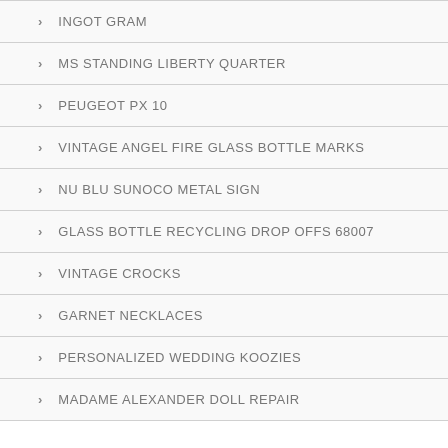INGOT GRAM
MS STANDING LIBERTY QUARTER
PEUGEOT PX 10
VINTAGE ANGEL FIRE GLASS BOTTLE MARKS
NU BLU SUNOCO METAL SIGN
GLASS BOTTLE RECYCLING DROP OFFS 68007
VINTAGE CROCKS
GARNET NECKLACES
PERSONALIZED WEDDING KOOZIES
MADAME ALEXANDER DOLL REPAIR